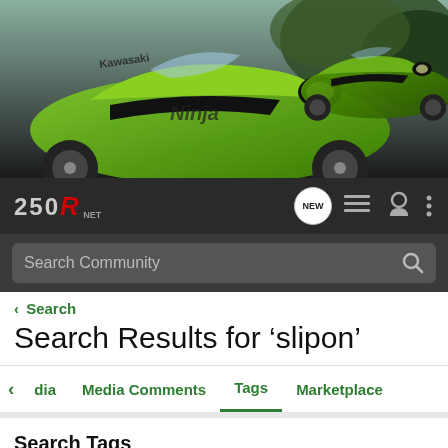[Figure (photo): Two green Kawasaki Ninja 250R motorcycles against a dark/outdoor background. Header banner image for 250R.net community website.]
250R.NET — NEW — navigation icons — three-dot menu
Search Community
< Search
Search Results for ‘slipon’
dia   Media Comments   Tags   Marketplace
Search Tags
✕ slipon
Search